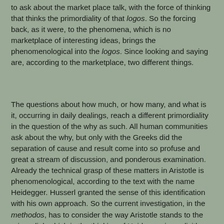to ask about the market place talk, with the force of thinking that thinks the primordiality of that logos. So the forcing back, as it were, to the phenomena, which is no marketplace of interesting ideas, brings the phenomenological into the logos. Since looking and saying are, according to the marketplace, two different things.
The questions about how much, or how many, and what is it, occurring in daily dealings, reach a different primordiality in the question of the why as such. All human communities ask about the why, but only with the Greeks did the separation of cause and result come into so profuse and great a stream of discussion, and ponderous examination. Already the technical grasp of these matters in Aristotle is phenomenological, according to the text with the name Heidegger. Husserl granted the sense of this identification with his own approach. So the current investigation, in the methodos, has to consider the way Aristotle stands to the primordial, which in the thinking of Heidegger is explicitly found in